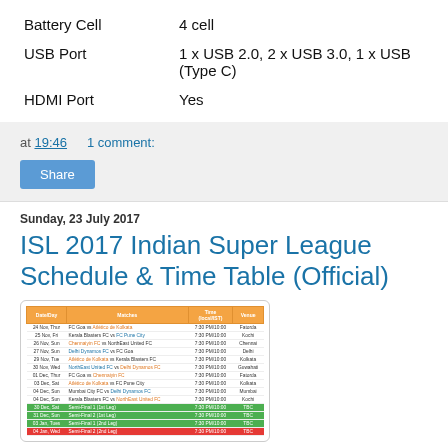|  |  |
| --- | --- |
| Battery Cell | 4 cell |
| USB Port | 1 x USB 2.0, 2 x USB 3.0, 1 x USB (Type C) |
| HDMI Port | Yes |
at 19:46   1 comment:
Share
Sunday, 23 July 2017
ISL 2017 Indian Super League Schedule & Time Table (Official)
[Figure (table-as-image): ISL 2017 Indian Super League schedule table showing match dates, teams, times and venues]